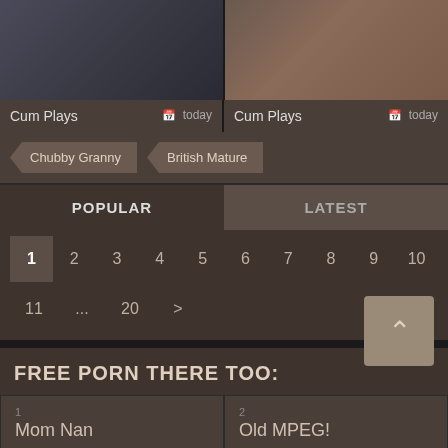[Figure (photo): Two thumbnail images side by side showing video content]
Cum Plays   today   Cum Plays   today
Chubby Granny
British Mature
POPULAR   LATEST
1  2  3  4  5  6  7  8  9  10
11  ...  20  >
FREE PORN THERE TOO:
1
Mom Nan
2
Old MPEG!
3
Giga Nan
4
Nan Cooks
5
6